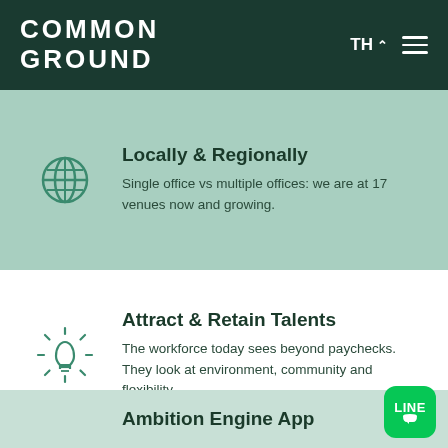COMMON GROUND  TH  ☰
Locally & Regionally
Single office vs multiple offices: we are at 17 venues now and growing.
Attract & Retain Talents
The workforce today sees beyond paychecks. They look at environment, community and flexibility.
Ambition Engine App